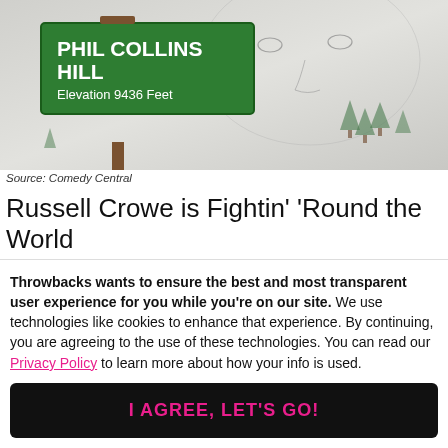[Figure (illustration): Illustrated image showing a green road sign reading 'PHIL COLLINS HILL / Elevation 9436 Feet' with a sketch of a face in the background and small pine trees]
Source: Comedy Central
Russell Crowe is Fightin' 'Round the World
[Figure (illustration): Colorful sunset illustration with palm trees silhouette on left, large sun, orange sky gradient]
Throwbacks wants to ensure the best and most transparent user experience for you while you're on our site. We use technologies like cookies to enhance that experience. By continuing, you are agreeing to the use of these technologies. You can read our Privacy Policy to learn more about how your info is used.
I AGREE, LET'S GO!